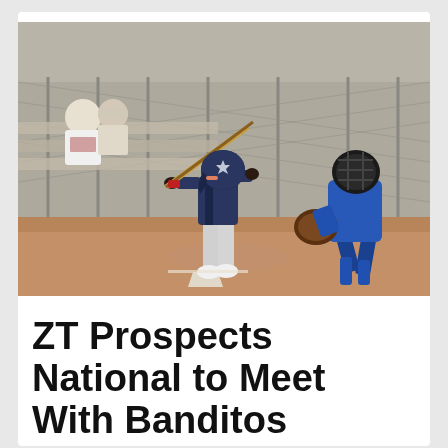[Figure (photo): Youth baseball game scene: a young batter in navy blue uniform and helmet mid-swing at home plate, a catcher in blue gear crouching to the right, a chain-link fence and bleachers with spectators in the background, red dirt field surface.]
ZT Prospects National to Meet With Banditos